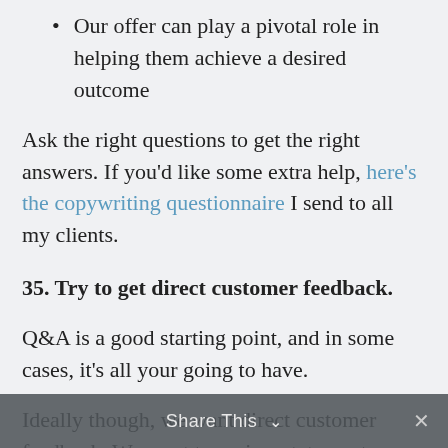Our offer can play a pivotal role in helping them achieve a desired outcome
Ask the right questions to get the right answers. If you'd like some extra help, here's the copywriting questionnaire I send to all my clients.
35. Try to get direct customer feedback.
Q&A is a good starting point, and in some cases, it's all your going to have.
Ideally though, we want direct customer feedback. We want to review statements
Share This ×